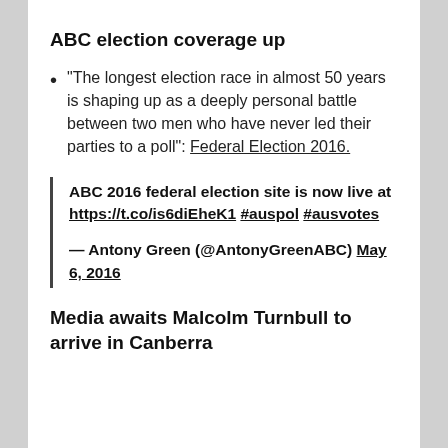ABC election coverage up
“The longest election race in almost 50 years is shaping up as a deeply personal battle between two men who have never led their parties to a poll”: Federal Election 2016.
ABC 2016 federal election site is now live at https://t.co/is6diEheK1 #auspol #ausvotes

— Antony Green (@AntonyGreenABC) May 6, 2016
Media awaits Malcolm Turnbull to arrive in Canberra